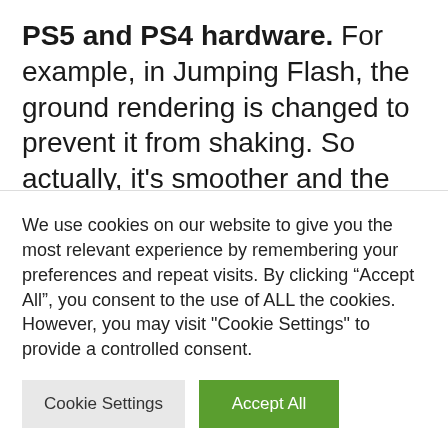PS5 and PS4 hardware. For example, in Jumping Flash, the ground rendering is changed to prevent it from shaking. So actually, it's smoother and the increase in resolution means we have things in high resolution and so on in lower resolution, but it gives the game a more dignified visual. As for filters, default, classic retro and modern, the differences are small. Concretely, according to Digital Foundry, the
We use cookies on our website to give you the most relevant experience by remembering your preferences and repeat visits. By clicking "Accept All", you consent to the use of ALL the cookies. However, you may visit "Cookie Settings" to provide a controlled consent.